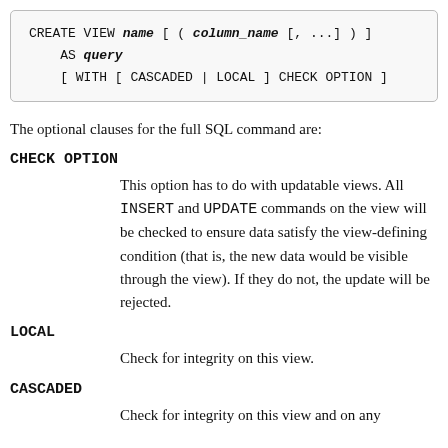The optional clauses for the full SQL command are:
CHECK OPTION
This option has to do with updatable views. All INSERT and UPDATE commands on the view will be checked to ensure data satisfy the view-defining condition (that is, the new data would be visible through the view). If they do not, the update will be rejected.
LOCAL
Check for integrity on this view.
CASCADED
Check for integrity on this view and on any